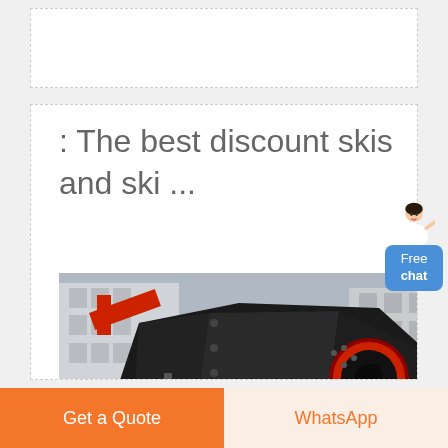[Figure (other): Empty dashed-border white box at top of page]
: The best discount skis and ski ...
[Figure (photo): Large black industrial crusher/impact mill machine loaded on a red flatbed truck, with urban buildings in background]
[Figure (other): Free chat widget with avatar of a woman in white outfit and a blue button labeled 'Free chat']
Get a Quote
WhatsApp